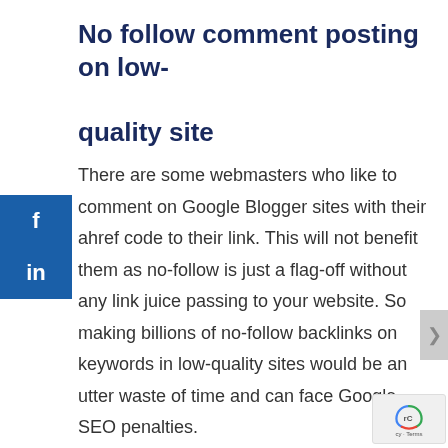No follow comment posting on low-quality site
There are some webmasters who like to comment on Google Blogger sites with their ahref code to their link. This will not benefit them as no-follow is just a flag-off without any link juice passing to your website. So making billions of no-follow backlinks on keywords in low-quality sites would be an utter waste of time and can face Google SEO penalties.